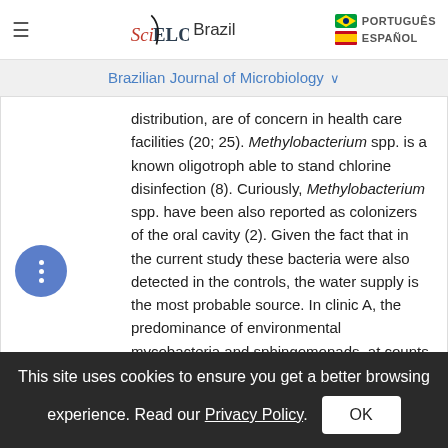SciELO Brazil | Brazilian Journal of Microbiology | PORTUGUÊS | ESPAÑOL
Brazilian Journal of Microbiology
distribution, are of concern in health care facilities (20; 25). Methylobacterium spp. is a known oligotroph able to stand chlorine disinfection (8). Curiously, Methylobacterium spp. have been also reported as colonizers of the oral cavity (2). Given the fact that in the current study these bacteria were also detected in the controls, the water supply is the most probable source. In clinic A, the predominance of environmental mycobacteria and sphingomonads, at counts of > 1 CFU/ml deserves attention. Although the human health hazards associated with environmental mycobacteria are
This site uses cookies to ensure you get a better browsing experience. Read our Privacy Policy. OK